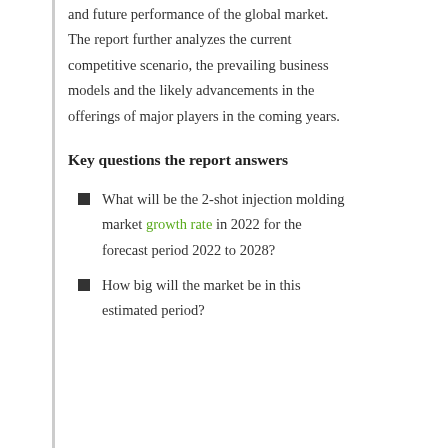and future performance of the global market. The report further analyzes the current competitive scenario, the prevailing business models and the likely advancements in the offerings of major players in the coming years.
Key questions the report answers
What will be the 2-shot injection molding market growth rate in 2022 for the forecast period 2022 to 2028?
How big will the market be in this estimated period?